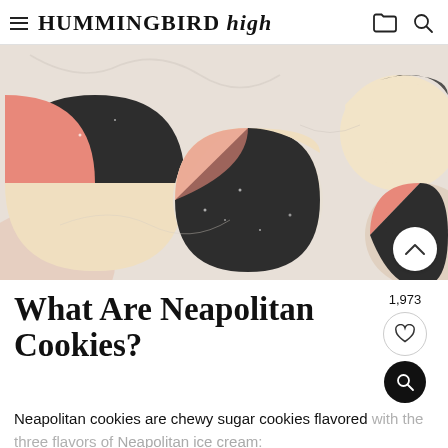HUMMINGBIRD high
[Figure (photo): Overhead photo of neapolitan cookies on a marble surface. The cookies are made of three-colored dough: pink/strawberry, dark/chocolate, and cream/vanilla segments swirled together into round cookie shapes.]
What Are Neapolitan Cookies?
1,973
Neapolitan cookies are chewy sugar cookies flavored with the three flavors of Neapolitan ice cream: strawberry, vanilla, and chocolate! This is the perfect